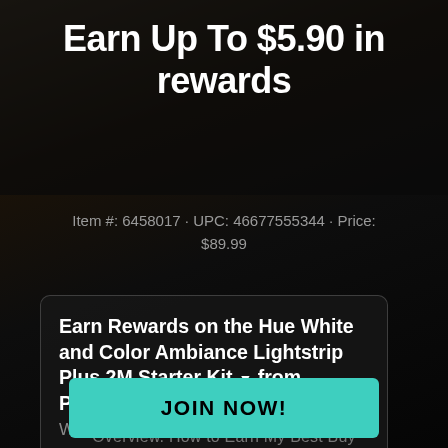Earn Up To $5.90 in rewards
Item #: 6458017 · UPC: 46677555344 · Price: $89.99
Earn Rewards on the Hue White and Color Ambiance Lightstrip Plus 2M Starter Kit from Philips at Best Buy - What'…
JOIN NOW!
Overview. How to Earn My Best Buy